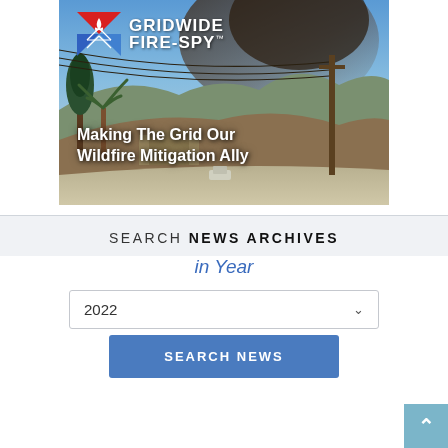[Figure (photo): Wildfire scene with smoke, palm trees, power lines and poles. Gridwide Fire-Spy logo in top left with tagline 'Making The Grid Our Wildfire Mitigation Ally']
SEARCH NEWS ARCHIVES
in Year
2022
SEARCH NEWS